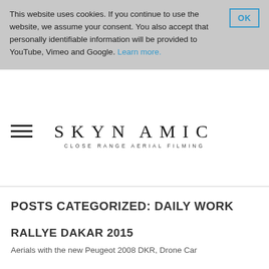This website uses cookies. If you continue to use the website, we assume your consent. You also accept that personally identifiable information will be provided to YouTube, Vimeo and Google. Learn more.
[Figure (logo): Skynamic logo with text 'SKYNAMIC' and tagline 'CLOSE RANGE AERIAL FILMING']
POSTS CATEGORIZED: DAILY WORK
RALLYE DAKAR 2015
Aerials with the new Peugeot 2008 DKR, Drone Car